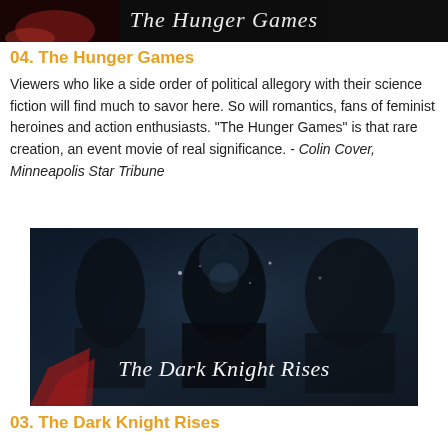[Figure (photo): Top banner image showing The Hunger Games movie poster with text 'The Hunger Games' in white script on dark background]
04. The Hunger Games
Viewers who like a side order of political allegory with their science fiction will find much to savor here. So will romantics, fans of feminist heroines and action enthusiasts. "The Hunger Games" is that rare creation, an event movie of real significance. - Colin Cover, Minneapolis Star Tribune
[Figure (photo): Movie banner for The Dark Knight Rises showing Catwoman, Batman, and Bane characters against dark stormy background with white script text 'The Dark Knight Rises']
03. The Dark Knight Rises